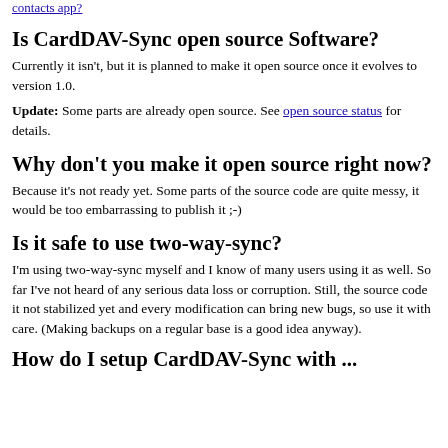contacts app?
Is CardDAV-Sync open source Software?
Currently it isn't, but it is planned to make it open source once it evolves to version 1.0.
Update: Some parts are already open source. See open source status for details.
Why don't you make it open source right now?
Because it's not ready yet. Some parts of the source code are quite messy, it would be too embarrassing to publish it ;-)
Is it safe to use two-way-sync?
I'm using two-way-sync myself and I know of many users using it as well. So far I've not heard of any serious data loss or corruption. Still, the source code it not stabilized yet and every modification can bring new bugs, so use it with care. (Making backups on a regular base is a good idea anyway).
How do I setup CardDAV-Sync with ...